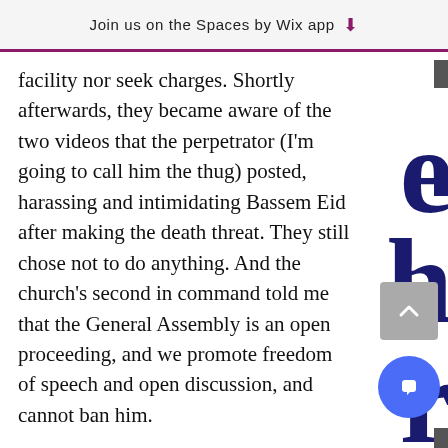Join us on the Spaces by Wix app
facility nor seek charges. Shortly afterwards, they became aware of the two videos that the perpetrator (I'm going to call him the thug) posted, harassing and intimidating Bassem Eid after making the death threat. They still chose not to do anything. And the church's second in command told me that the General Assembly is an open proceeding, and we promote freedom of speech and open discussion, and cannot ban him.
The end result was that those of us attending the meetings were rattled. Particularly since the thug was allowed to return to the room, and came in and o even approaching two of our members.
When Bassem Eid made a presentation the